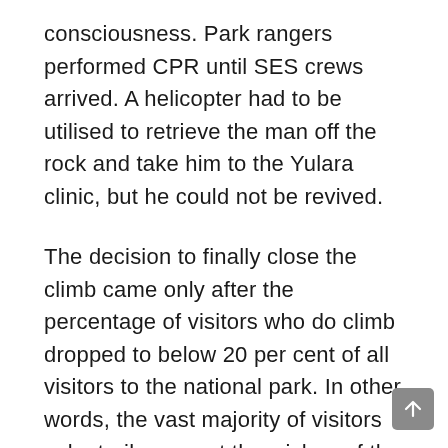consciousness. Park rangers performed CPR until SES crews arrived. A helicopter had to be utilised to retrieve the man off the rock and take him to the Yulara clinic, but he could not be revived.
The decision to finally close the climb came only after the percentage of visitors who do climb dropped to below 20 per cent of all visitors to the national park. In other words, the vast majority of visitors voluntarily respect the wishes of the Anangu people.
Finally, despite what many opponents of the closure like to claim, the Anangu people themselves do not climb Uluru...